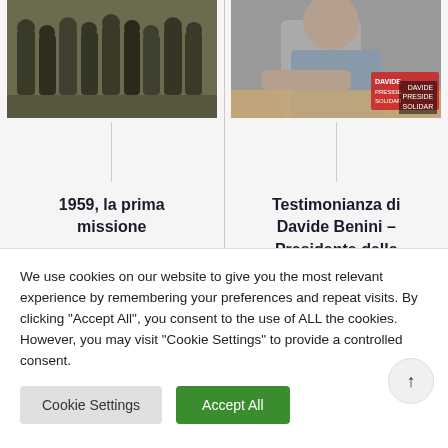[Figure (photo): Black and white historical photo of a group of people in robes/habits standing outdoors, sepia tone]
[Figure (photo): Color photo of a person seated at a table, with a placard reading DAVIDE PRESIDENTE SOLIDAR]
1959, la prima missione
Testimonianza di Davide Benini – Presidente della Coop. Sociale Solidarietà
We use cookies on our website to give you the most relevant experience by remembering your preferences and repeat visits. By clicking "Accept All", you consent to the use of ALL the cookies. However, you may visit "Cookie Settings" to provide a controlled consent.